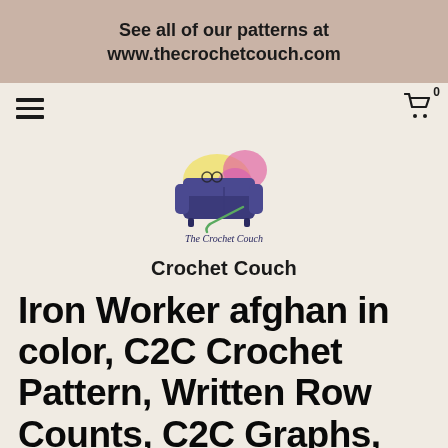See all of our patterns at www.thecrochetcouch.com
[Figure (logo): The Crochet Couch logo featuring a dark blue/purple couch with colorful watercolor splotches in yellow, pink, and magenta behind it, with a crochet hook, and cursive text reading 'The Crochet Couch']
Crochet Couch
Iron Worker afghan in color, C2C Crochet Pattern, Written Row Counts, C2C Graphs, Corner to Corner, Crochet Pattern, C2C Graph